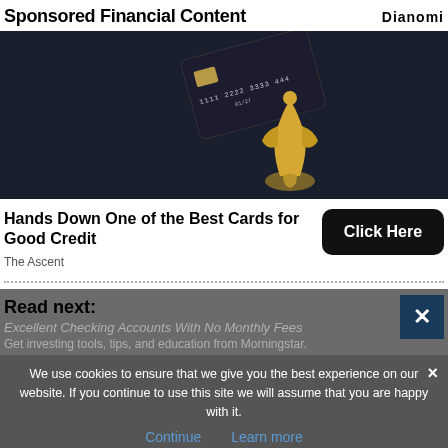Sponsored Financial Content
[Figure (photo): Dark background with a black premium credit card showing numbers '1111 2222 3333 444' and expiry '01/27', accompanied by a golden abstract figurine]
Hands Down One of the Best Cards for Good Credit
The Ascent
Read next:
Excellent Checking Accounts With No Monthly Fees
Get investing tools, tips, and education from Morningstar.
We use cookies to ensure that we give you the best experience on our website. If you continue to use this site we will assume that you are happy with it.